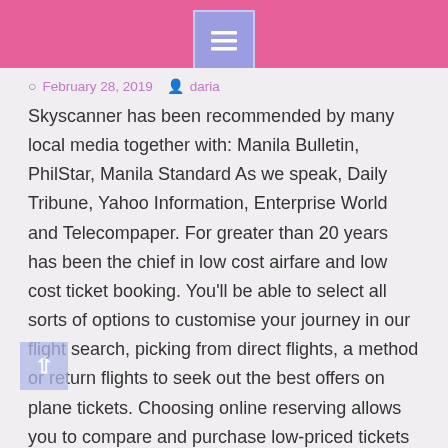February 28, 2019  daria
Skyscanner has been recommended by many local media together with: Manila Bulletin, PhilStar, Manila Standard As we speak, Daily Tribune, Yahoo Information, Enterprise World and Telecompaper. For greater than 20 years has been the chief in low cost airfare and low cost ticket booking. You'll be able to select all sorts of options to customise your journey in our flight search, picking from direct flights, a method or return flights to seek out the best offers on plane tickets. Choosing online reserving allows you to compare and purchase low-priced tickets in your trip.